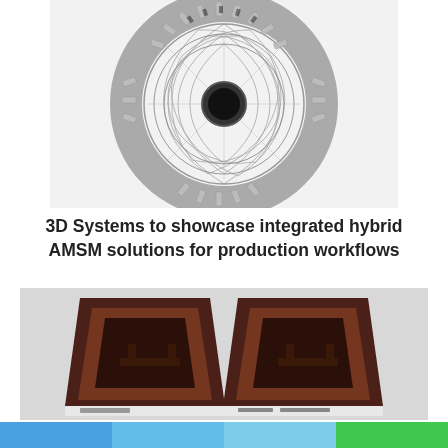[Figure (photo): Close-up photo of a metallic 3D-printed gear/turbine wheel showing intricate lattice and spiral structures, silver/grey coloring.]
3D Systems to showcase integrated hybrid AMSM solutions for production workflows
[Figure (photo): Two dark amber/brown colored SLA 3D printers side by side on a light grey background. Each has a trapezoidal body with a white base.]
Lotus EZ, C625 SLA 3D printer now on Kickstarter